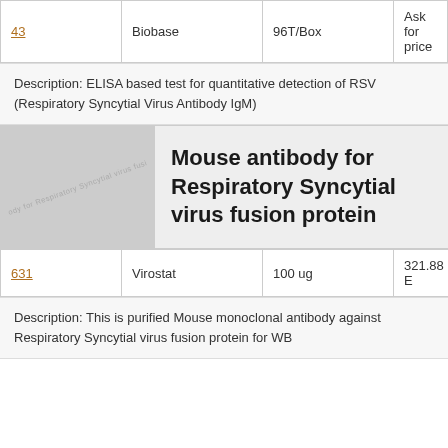| ID | Vendor | Quantity | Price |
| --- | --- | --- | --- |
| 43 | Biobase | 96T/Box | Ask for price |
Description: ELISA based test for quantitative detection of RSV (Respiratory Syncytial Virus Antibody IgM)
[Figure (photo): Product image placeholder for Respiratory Syncytial antibody for Respiratory Syncytial virus fusion protein]
Mouse antibody for Respiratory Syncytial virus fusion protein
| ID | Vendor | Quantity | Price |
| --- | --- | --- | --- |
| 631 | Virostat | 100 ug | 321.88 E |
Description: This is purified Mouse monoclonal antibody against Respiratory Syncytial virus fusion protein for WB